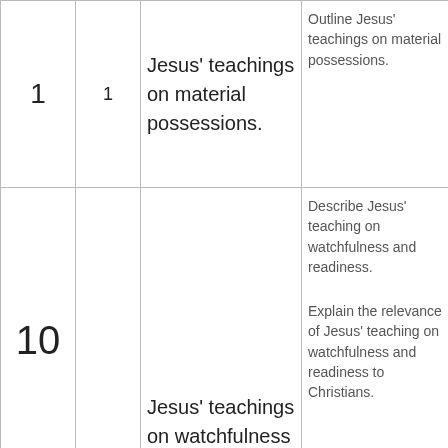|  | Lesson | Topic | Objectives | Resources/Assessment |
| --- | --- | --- | --- | --- |
| 1 | 1 | Jesus' teachings on material possessions. | Outline Jesus' teachings on material possessions. | Q/A: obser... from t... readin... |
| 10 | 2,3 | Jesus' teachings on watchfulness and readiness. | Describe Jesus' teaching on watchfulness and readiness.
Explain the relevance of Jesus' teaching on watchfulness and readiness to Christians. | Luke 1...
Q/A a... expla... |